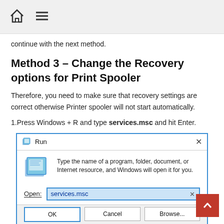Home / Menu
continue with the next method.
Method 3 – Change the Recovery options for Print Spooler
Therefore, you need to make sure that recovery settings are correct otherwise Printer spooler will not start automatically.
1.Press Windows + R and type services.msc and hit Enter.
[Figure (screenshot): Windows Run dialog with 'services.msc' typed in the Open field. Dialog shows title 'Run', description text 'Type the name of a program, folder, document, or Internet resource, and Windows will open it for you.', Open field with 'services.msc', and buttons OK, Cancel, Browse.]